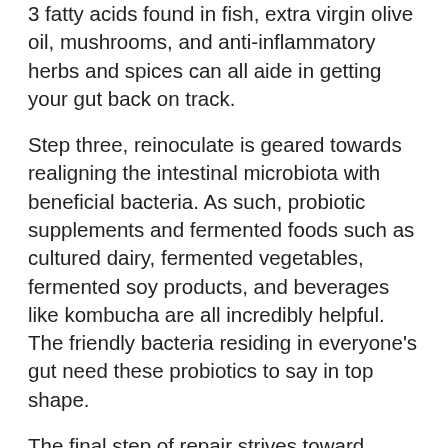3 fatty acids found in fish, extra virgin olive oil, mushrooms, and anti-inflammatory herbs and spices can all aide in getting your gut back on track.
Step three, reinoculate is geared towards realigning the intestinal microbiota with beneficial bacteria. As such, probiotic supplements and fermented foods such as cultured dairy, fermented vegetables, fermented soy products, and beverages like kombucha are all incredibly helpful. The friendly bacteria residing in everyone's gut need these probiotics to say in top shape.
The final step of repair strives toward repairing one's intestinal lining with specific nutrients and herbs known to decrease intestinal permeability and inflammation. Depending on an individual's diets, dietary needs, and supplement needs, this could look different for everyone. Common examples include zinc, Vitamin D, polyphenols, and